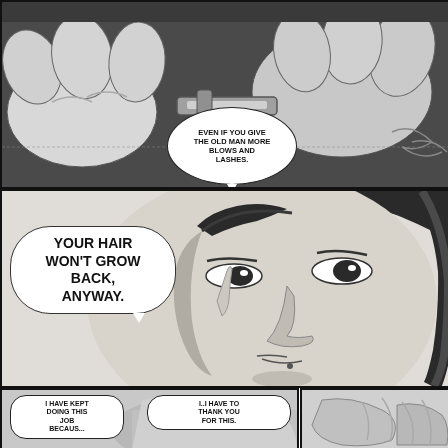[Figure (illustration): Top manga panel: close-up of large fists/hands gripping or striking something, dramatic black and white manga art style. Speech bubble reads: EVEN IF YOU GIVE THE OLD MAN MORE BLOWS AND LASHES.]
[Figure (illustration): Middle manga panel: close-up of a young man's face looking stern/smirking, with large speech balloon on left reading: YOUR HAIR WON'T GROW BACK, ANYWAY.]
[Figure (illustration): Bottom left manga panel: partial view of figure, speech bubble: I HAVE KEPT DOING THIS JOB [text continues below visible area]]
[Figure (illustration): Bottom right manga panel: close-up of hands or fabric, speech bubble: I..I HAVE TO THANK YOU FOR THIS.]